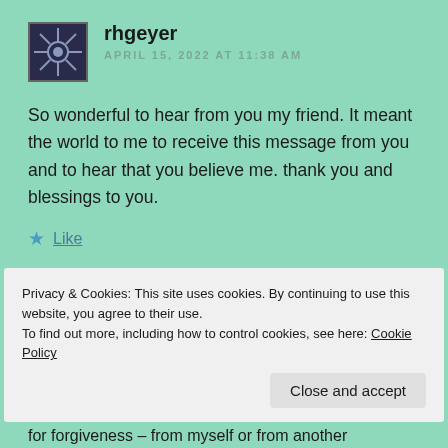rhgeyer
APRIL 15, 2022 AT 11:38 AM
So wonderful to hear from you my friend. It meant the world to me to receive this message from you and to hear that you believe me. thank you and blessings to you.
★ Like
↩ Reply
Privacy & Cookies: This site uses cookies. By continuing to use this website, you agree to their use.
To find out more, including how to control cookies, see here: Cookie Policy
Close and accept
for forgiveness – from myself or from another